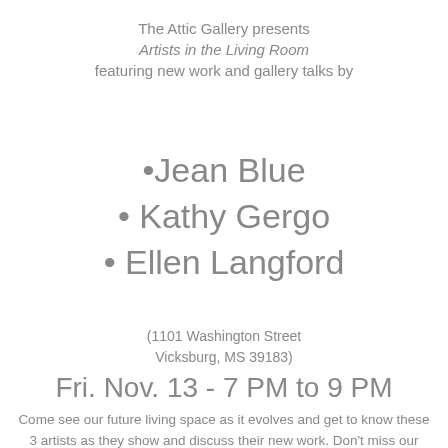The Attic Gallery presents Artists in the Living Room featuring new work and gallery talks by
• Jean Blue
• Kathy Gergo
• Ellen Langford
(1101 Washington Street Vicksburg, MS 39183)
Fri. Nov. 13 - 7 PM to 9 PM
Come see our future living space as it evolves and get to know these 3 artists as they show and discuss their new work. Don't miss our last opening of 2009.